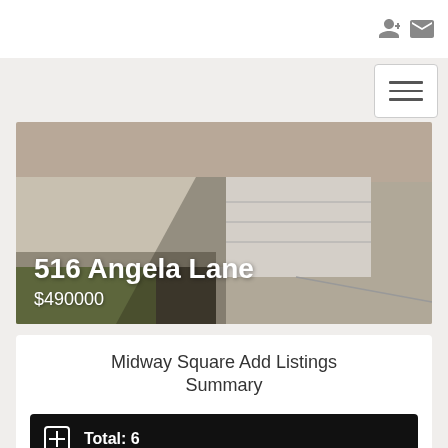Header with login and mail icons
[Figure (photo): Exterior photo of a house showing a driveway, garage, and front lawn with landscaping]
516 Angela Lane
$490000
Midway Square Add Listings Summary
Total: 6
New: 0